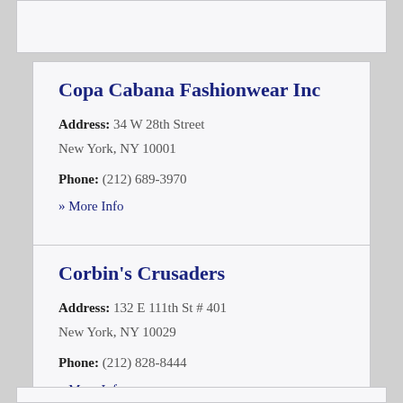Copa Cabana Fashionwear Inc
Address: 34 W 28th Street
New York, NY 10001
Phone: (212) 689-3970
» More Info
Corbin's Crusaders
Address: 132 E 111th St # 401
New York, NY 10029
Phone: (212) 828-8444
» More Info